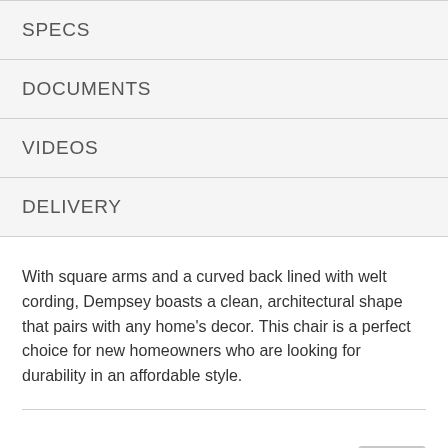SPECS
DOCUMENTS
VIDEOS
DELIVERY
With square arms and a curved back lined with welt cording, Dempsey boasts a clean, architectural shape that pairs with any home's decor. This chair is a perfect choice for new homeowners who are looking for durability in an affordable style.
FEATURES